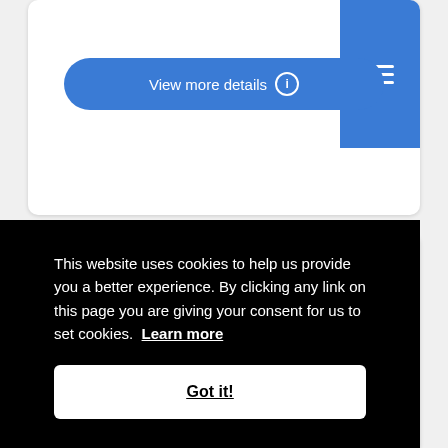[Figure (screenshot): Blue rounded button labeled 'View more details' with an info icon, on a white card background]
[Figure (screenshot): Blue square menu button with hamburger icon in top-right corner]
Thermodynamics in
[Figure (photo): Dark background with purple and blue glowing lights, partial view of an image at the bottom of the page]
This website uses cookies to help us provide you a better experience. By clicking any link on this page you are giving your consent for us to set cookies. Learn more
Got it!